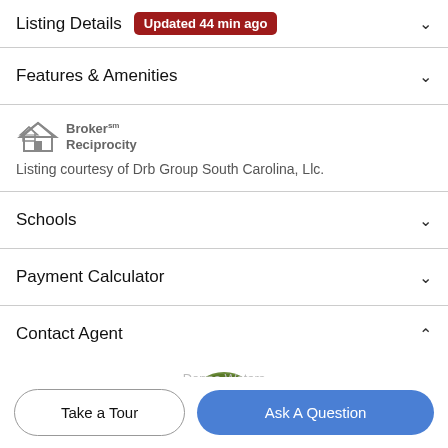Listing Details Updated 44 min ago
Features & Amenities
[Figure (logo): Broker Reciprocity logo with house icon]
Listing courtesy of Drb Group South Carolina, Llc.
Schools
Payment Calculator
Contact Agent
[Figure (photo): Partial agent profile photo (top of head visible)]
Take a Tour
Ask A Question